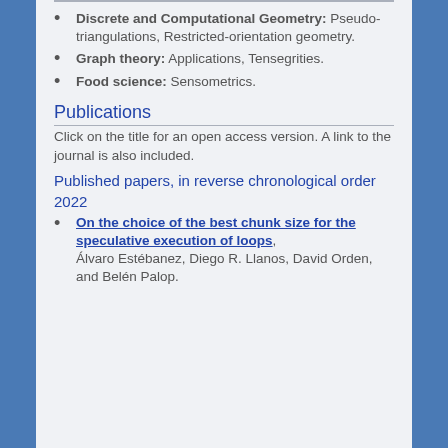Discrete and Computational Geometry: Pseudo-triangulations, Restricted-orientation geometry.
Graph theory: Applications, Tensegrities.
Food science: Sensometrics.
Publications
Click on the title for an open access version. A link to the journal is also included.
Published papers, in reverse chronological order
2022
On the choice of the best chunk size for the speculative execution of loops, Álvaro Estébanez, Diego R. Llanos, David Orden, and Belén Palop.